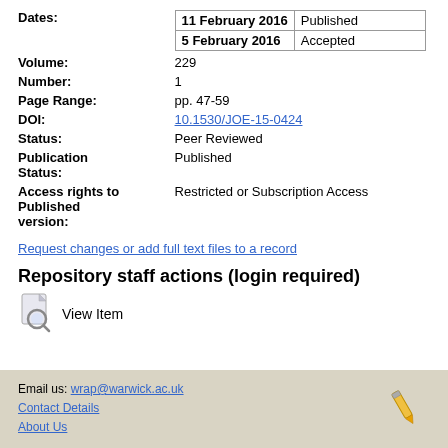| Dates: | 11 February 2016 | Published |
|  | 5 February 2016 | Accepted |
| Volume: | 229 |  |
| Number: | 1 |  |
| Page Range: | pp. 47-59 |  |
| DOI: | 10.1530/JOE-15-0424 |  |
| Status: | Peer Reviewed |  |
| Publication Status: | Published |  |
| Access rights to Published version: | Restricted or Subscription Access |  |
Request changes or add full text files to a record
Repository staff actions (login required)
View Item
Email us: wrap@warwick.ac.uk
Contact Details
About Us